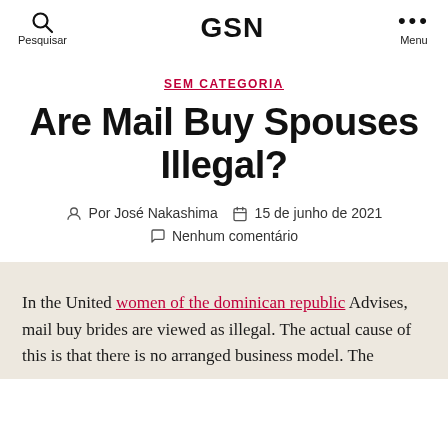GSN | Pesquisar | Menu
SEM CATEGORIA
Are Mail Buy Spouses Illegal?
Por José Nakashima  15 de junho de 2021  Nenhum comentário
In the United women of the dominican republic Advises, mail buy brides are viewed as illegal. The actual cause of this is that there is no arranged business model. The